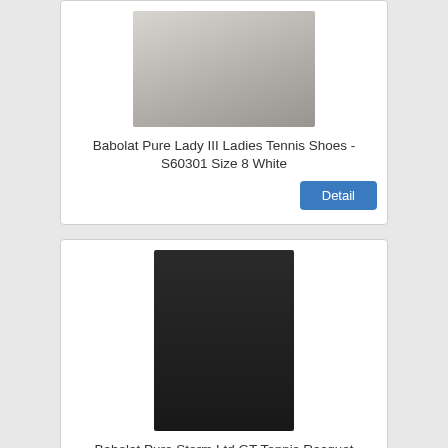[Figure (photo): White Babolat tennis shoes photographed from above on a grey surface]
Babolat Pure Lady III Ladies Tennis Shoes - S60301 Size 8 White
Detail
[Figure (photo): Red and black Babolat Pure Storm Ltd GT tennis racquet photographed against a dark background]
Babolat Pure Storm Ltd GT Tennis Racquet
Detail
[Figure (photo): Babolat tennis racquet shown from front with packaging tag, on slatted background, partially visible]